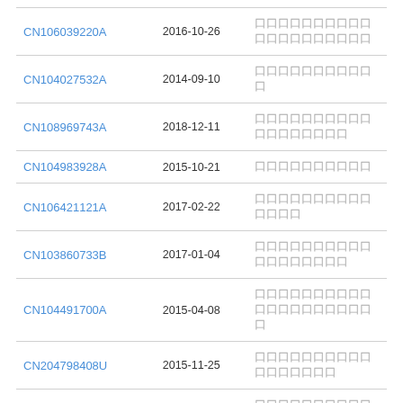| CN106039220A | 2016-10-26 | 口口口口口口口口口口口口口口口口口口口口 |
| CN104027532A | 2014-09-10 | 口口口口口口口口口口口 |
| CN108969743A | 2018-12-11 | 口口口口口口口口口口口口口口口口口口 |
| CN104983928A | 2015-10-21 | 口口口口口口口口口口 |
| CN106421121A | 2017-02-22 | 口口口口口口口口口口口口口口 |
| CN103860733B | 2017-01-04 | 口口口口口口口口口口口口口口口口口口 |
| CN104491700A | 2015-04-08 | 口口口口口口口口口口口口口口口口口口口口口 |
| CN204798408U | 2015-11-25 | 口口口口口口口口口口口口口口口口口 |
| CN108452432A | 2018-08-28 | 口口口口口口口口口口口口口口 |
| CN107296930A | 2017-10-27 | 口口口口口口口口口口口口口 |
| CN103720797A | 2014-04-16 | 口口口口口口口口口口口口口 |
| CN107397622A | 2017-11-28 | 口口口口口口口口口口口口口口 |